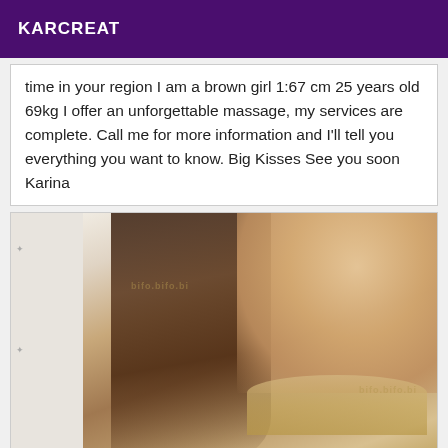KARCREAT
time in your region I am a brown girl 1:67 cm 25 years old 69kg I offer an unforgettable massage, my services are complete. Call me for more information and I'll tell you everything you want to know. Big Kisses See you soon Karina
[Figure (photo): Portrait photo of a young woman with long dark hair, wearing a pearl necklace and light-colored top, appearing to blow a kiss toward the camera.]